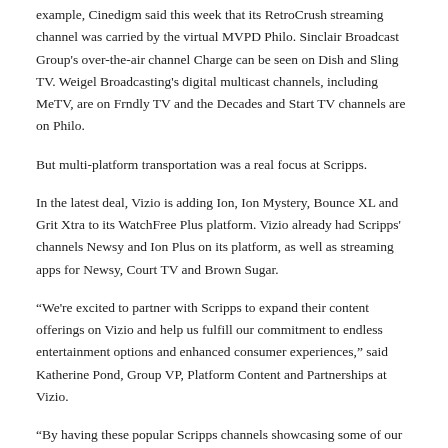example, Cinedigm said this week that its RetroCrush streaming channel was carried by the virtual MVPD Philo. Sinclair Broadcast Group's over-the-air channel Charge can be seen on Dish and Sling TV. Weigel Broadcasting's digital multicast channels, including MeTV, are on Frndly TV and the Decades and Start TV channels are on Philo.
But multi-platform transportation was a real focus at Scripps.
In the latest deal, Vizio is adding Ion, Ion Mystery, Bounce XL and Grit Xtra to its WatchFree Plus platform. Vizio already had Scripps' channels Newsy and Ion Plus on its platform, as well as streaming apps for Newsy, Court TV and Brown Sugar.
“We're excited to partner with Scripps to expand their content offerings on Vizio and help us fulfill our commitment to endless entertainment options and enhanced consumer experiences,” said Katherine Pond, Group VP, Platform Content and Partnerships at Vizio.
“By having these popular Scripps channels showcasing some of our